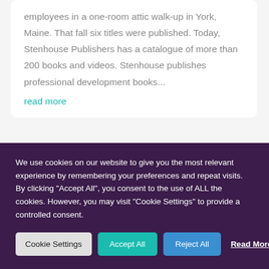employees in a one-room attic walk-up in York, Maine. That fall six titles were published. Today, Stenhouse Publishers has a catalogue of more than 200 books and videos. Stenhouse publishes professional development books...
read more
We use cookies on our website to give you the most relevant experience by remembering your preferences and repeat visits. By clicking "Accept All", you consent to the use of ALL the cookies. However, you may visit "Cookie Settings" to provide a controlled consent.